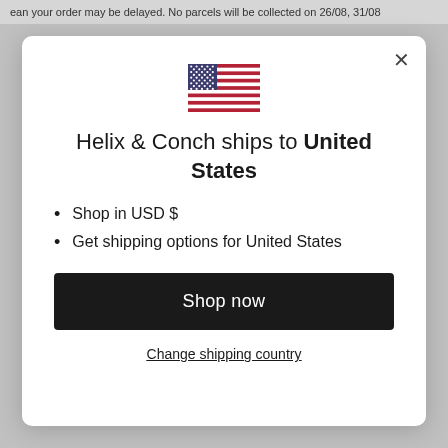ean your order may be delayed. No parcels will be collected on 26/08, 31/08
[Figure (illustration): US flag icon centered in modal]
Helix & Conch ships to United States
Shop in USD $
Get shipping options for United States
Shop now
Change shipping country